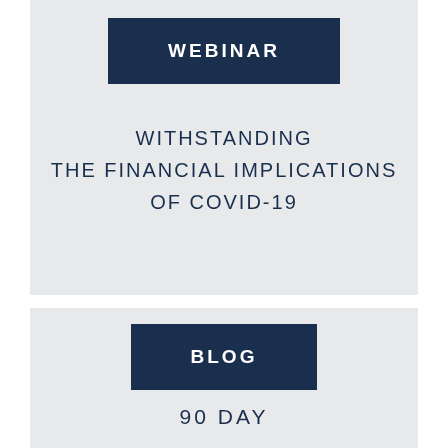WEBINAR
WITHSTANDING THE FINANCIAL IMPLICATIONS OF COVID-19
BLOG
90 DAY